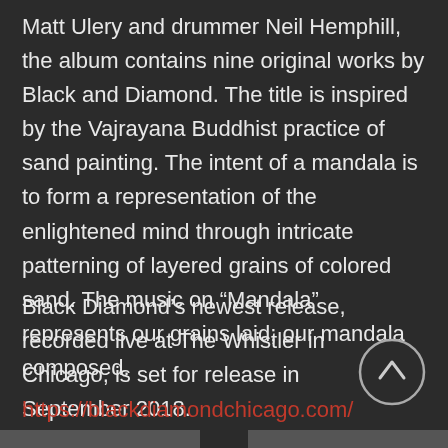Matt Ulery and drummer Neil Hemphill, the album contains nine original works by Black and Diamond. The title is inspired by the Vajrayana Buddhist practice of sand painting. The intent of a mandala is to form a representation of the enlightened mind through intricate patterning of layered grains of colored sand. The music on “Mandala” represents our grains laid; our mandala composed.
Black Diamond’s newest release, recorded live at The Whistler in Chicago, is set for release in September 2018.
https://blackdiamondchicago.com/